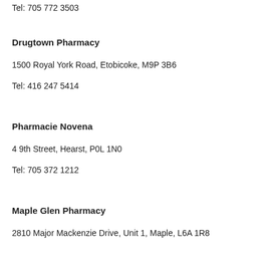Tel: 705 772 3503
Drugtown Pharmacy
1500 Royal York Road, Etobicoke, M9P 3B6
Tel: 416 247 5414
Pharmacie Novena
4 9th Street, Hearst, P0L 1N0
Tel: 705 372 1212
Maple Glen Pharmacy
2810 Major Mackenzie Drive, Unit 1, Maple, L6A 1R8